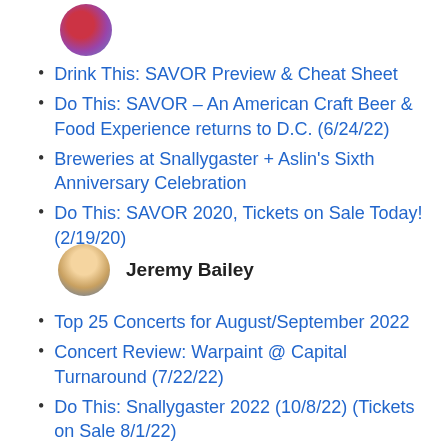[Figure (illustration): Circular avatar image of flowers, red and purple blossoms]
Drink This: SAVOR Preview & Cheat Sheet
Do This: SAVOR – An American Craft Beer & Food Experience returns to D.C. (6/24/22)
Breweries at Snallygaster + Aslin's Sixth Anniversary Celebration
Do This: SAVOR 2020, Tickets on Sale Today! (2/19/20)
[Figure (photo): Circular avatar photo of a man, Jeremy Bailey]
Jeremy Bailey
Top 25 Concerts for August/September 2022
Concert Review: Warpaint @ Capital Turnaround (7/22/22)
Do This: Snallygaster 2022 (10/8/22) (Tickets on Sale 8/1/22)